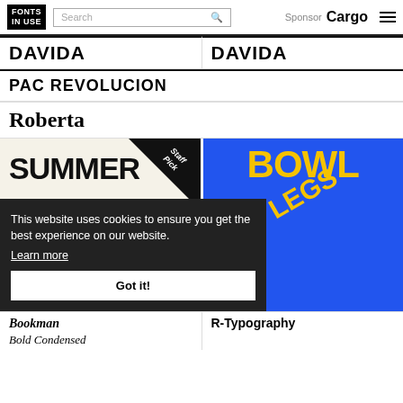FONTS IN USE — Search — Sponsor Cargo
DAVIDA
DAVIDA
PAC REVOLUCION
Roberta
[Figure (photo): Summer typography illustration with Staff Pick badge, showing 'SUMMER' text in bold black on cream background]
[Figure (photo): BOWL text in large yellow letters on blue background, with letters at an angle]
This website uses cookies to ensure you get the best experience on our website. Learn more Got it!
Bookman Bold Condensed
R-Typography